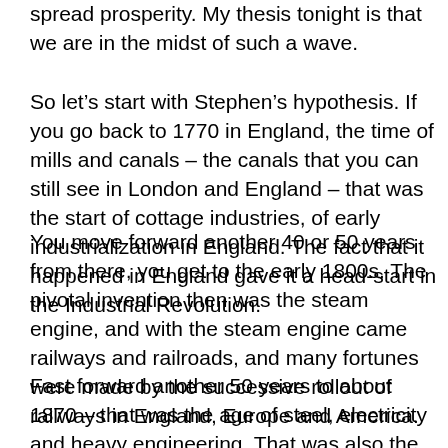spread prosperity. My thesis tonight is that we are in the midst of such a wave.
So let's start with Stephen's hypothesis. If you go back to 1770 in England, the time of mills and canals – the canals that you can still see in London and England – that was the start of cottage industries, of early industrialization in England. The fact that it happened in England gave it a head-start in the Industrial Revolution.
You move forward another 40 or 50 years from there, you get to the early 1800s. The pivotal invention then was the steam engine, and with the steam engine came railways and railroads, and many fortunes were made by the successive rollout of railways in England, Europe and America.
Fast forward another 50 years to about 1870 – that was the age of steel, electricity and heavy engineering. That was also the age of heavy engineering, big infrastructure.